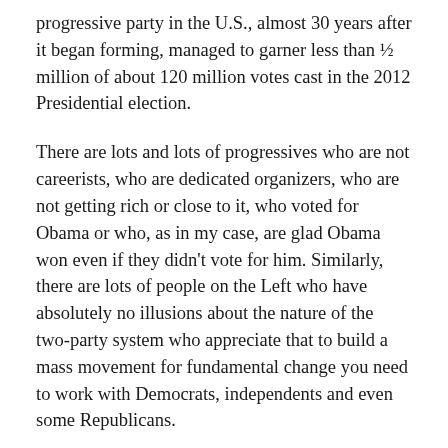progressive party in the U.S., almost 30 years after it began forming, managed to garner less than ½ million of about 120 million votes cast in the 2012 Presidential election.
There are lots and lots of progressives who are not careerists, who are dedicated organizers, who are not getting rich or close to it, who voted for Obama or who, as in my case, are glad Obama won even if they didn't vote for him. Similarly, there are lots of people on the Left who have absolutely no illusions about the nature of the two-party system who appreciate that to build a mass movement for fundamental change you need to work with Democrats, independents and even some Republicans.
Militant, ideologically-grounded, anti-Democratic Party anti-capitalists, even if they were all brought together somehow, aren't anywhere close to being the mass movement for progressive change that is so desperately needed.